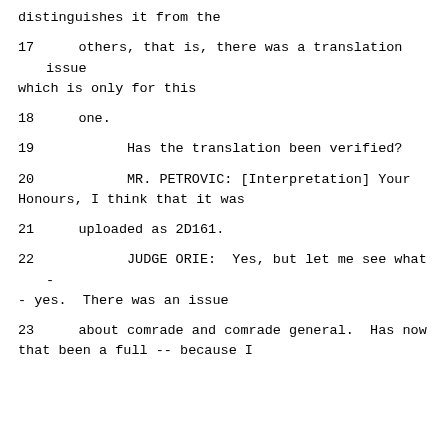distinguishes it from the
17     others, that is, there was a translation issue which is only for this
18     one.
19            Has the translation been verified?
20            MR. PETROVIC: [Interpretation] Your Honours, I think that it was
21     uploaded as 2D161.
22            JUDGE ORIE:  Yes, but let me see what -- yes.  There was an issue
23     about comrade and comrade general.  Has now that been a full -- because I